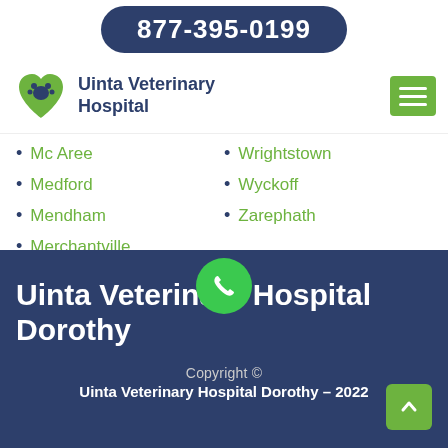877-395-0199
[Figure (logo): Uinta Veterinary Hospital logo with paw print in a heart shape]
Uinta Veterinary Hospital
Mc Aree
Wrightstown
Medford
Wyckoff
Mendham
Zarephath
Merchantville
Uinta Veterinary Hospital Dorothy
Copyright © Uinta Veterinary Hospital Dorothy - 2022